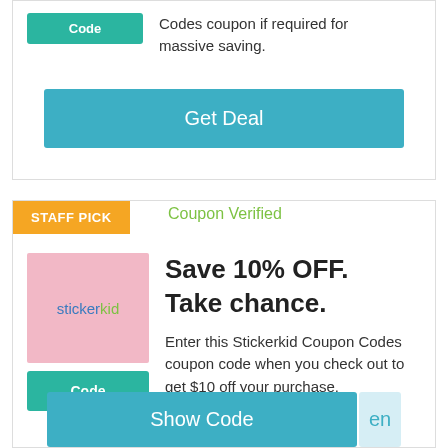Codes coupon if required for massive saving.
Get Deal
STAFF PICK
Coupon Verified
Save 10% OFF. Take chance.
Enter this Stickerkid Coupon Codes coupon code when you check out to get $10 off your purchase.
Show Code
en